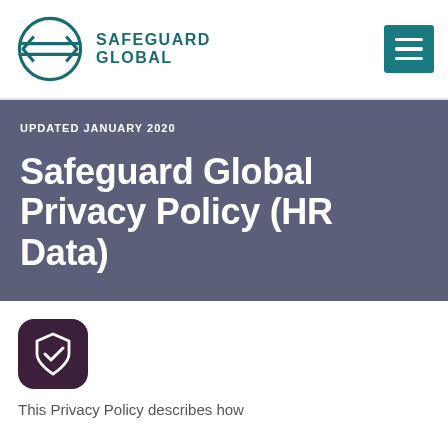[Figure (logo): Safeguard Global logo with circular emblem and teal text]
UPDATED JANUARY 2020
Safeguard Global Privacy Policy (HR Data)
[Figure (illustration): Dark purple rounded square icon with a shield and checkmark]
This Privacy Policy describes how